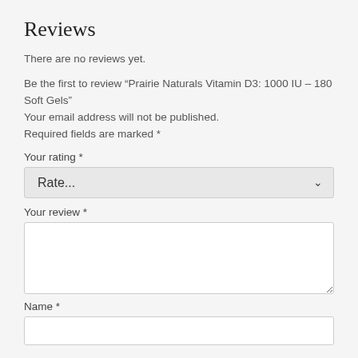Reviews
There are no reviews yet.
Be the first to review “Prairie Naturals Vitamin D3: 1000 IU – 180 Soft Gels” Your email address will not be published. Required fields are marked *
Your rating *
Rate...
Your review *
Name *